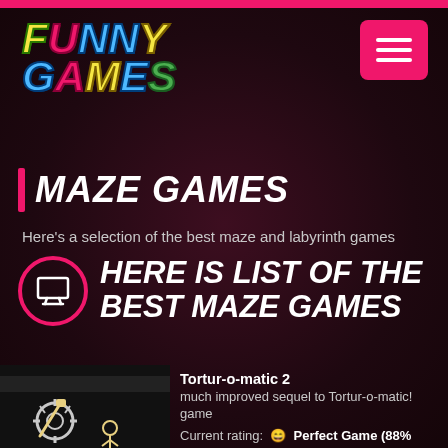[Figure (logo): Funny Games colorful logo with FUNNY on top row and GAMES on bottom row, cartoon bold italic lettering in multiple colors]
[Figure (other): Pink/hot pink hamburger menu button (three horizontal lines) on top right]
MAZE GAMES
Here's a selection of the best maze and labyrinth games
HERE IS LIST OF THE BEST MAZE GAMES
Tortur-o-matic 2
much improved sequel to Tortur-o-matic! game
Current rating:  😄  Perfect Game (88% - based on 60353 votes)